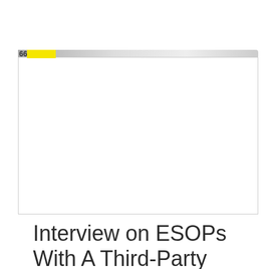66
[Figure (other): A document page preview box with a gray and yellow header bar at top showing partial text '66' and a yellow highlight, representing a document cover or page thumbnail. The inner area is white/blank.]
Interview on ESOPs With A Third-Party